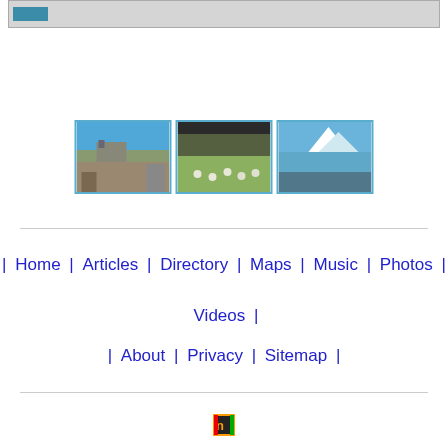[Figure (screenshot): Top banner with a teal/blue button on a gray background]
[Figure (photo): Three landscape photos in a row: alpine church scene, sheep in green field, mountain lake with snowy peaks]
[Figure (other): Horizontal divider line]
| Home | Articles | Directory | Maps | Music | Photos |
Videos |
| About | Privacy | Sitemap |
[Figure (logo): Small colored logo icon at the bottom center]